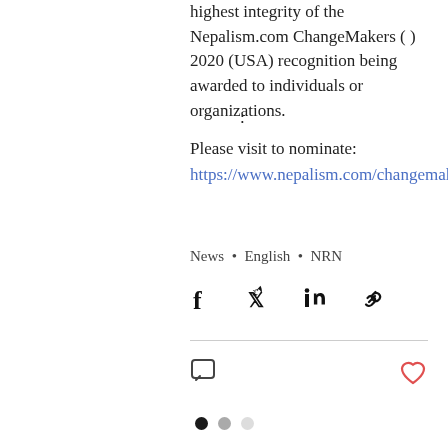highest integrity of the Nepalism.com ChangeMakers ( ) 2020 (USA) recognition being awarded to individuals or organizations.
:
Please visit to nominate:
https://www.nepalism.com/changemakers
News · English · NRN
[Figure (infographic): Social share icons: Facebook, Twitter, LinkedIn, link/chain icon]
[Figure (infographic): Comment icon on the left, heart/like icon (outlined, red) on the right]
[Figure (infographic): Pagination dots: filled black dot, medium gray dot, light gray dot]